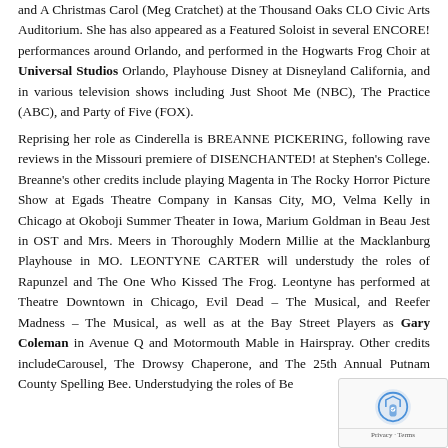and A Christmas Carol (Meg Cratchet) at the Thousand Oaks CLO Civic Arts Auditorium. She has also appeared as a Featured Soloist in several ENCORE! performances around Orlando, and performed in the Hogwarts Frog Choir at Universal Studios Orlando, Playhouse Disney at Disneyland California, and in various television shows including Just Shoot Me (NBC), The Practice (ABC), and Party of Five (FOX).

Reprising her role as Cinderella is BREANNE PICKERING, following rave reviews in the Missouri premiere of DISENCHANTED! at Stephen's College. Breanne's other credits include playing Magenta in The Rocky Horror Picture Show at Egads Theatre Company in Kansas City, MO, Velma Kelly in Chicago at Okoboji Summer Theater in Iowa, Marium Goldman in Beau Jest in OST and Mrs. Meers in Thoroughly Modern Millie at the Macklanburg Playhouse in MO. LEONTYNE CARTER will understudy the roles of Rapunzel and The One Who Kissed The Frog. Leontyne has performed at Theatre Downtown in Chicago, Evil Dead – The Musical, and Reefer Madness – The Musical, as well as at the Bay Street Players as Gary Coleman in Avenue Q and Motormouth Mable in Hairspray. Other credits includeCarousel, The Drowsy Chaperone, and The 25th Annual Putnam County Spelling Bee. Understudying the roles of Belle, The Little Mermaid, Cinderella, and Sleeping Beauty is KATHRYN NASH.